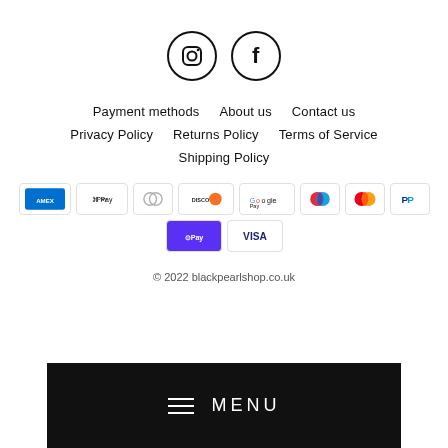[Figure (illustration): Two social media icons in circles: Instagram and Facebook]
Payment methods   About us   Contact us
Privacy Policy   Returns Policy   Terms of Service
Shipping Policy
[Figure (illustration): Payment method logos: Amex, Apple Pay, Diners Club, Discover, Google Pay, Maestro, Mastercard, PayPal, Shop Pay, Visa]
© 2022 blackpearlshop.co.uk
≡ MENU